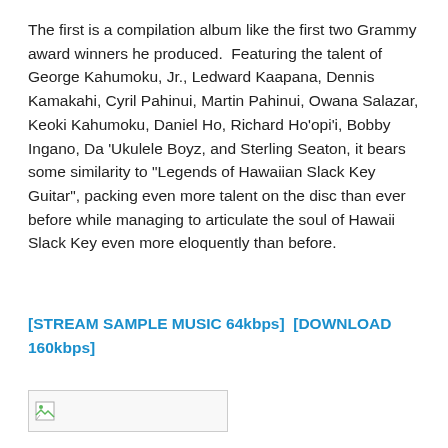The first is a compilation album like the first two Grammy award winners he produced.  Featuring the talent of George Kahumoku, Jr., Ledward Kaapana, Dennis Kamakahi, Cyril Pahinui, Martin Pahinui, Owana Salazar, Keoki Kahumoku, Daniel Ho, Richard Ho'opi'i, Bobby Ingano, Da 'Ukulele Boyz, and Sterling Seaton, it bears some similarity to "Legends of Hawaiian Slack Key Guitar", packing even more talent on the disc than ever before while managing to articulate the soul of Hawaii Slack Key even more eloquently than before.
[STREAM SAMPLE MUSIC 64kbps]  [DOWNLOAD 160kbps]
[Figure (other): Broken image placeholder icon]